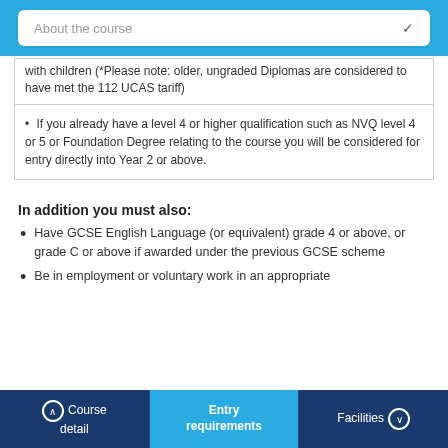About the course
with children (*Please note: older, ungraded Diplomas are considered to have met the 112 UCAS tariff)
If you already have a level 4 or higher qualification such as NVQ level 4 or 5 or Foundation Degree relating to the course you will be considered for entry directly into Year 2 or above.
In addition you must also:
Have GCSE English Language (or equivalent) grade 4 or above, or grade C or above if awarded under the previous GCSE scheme
Be in employment or voluntary work in an appropriate
Course detail   Entry requirements   Facilities